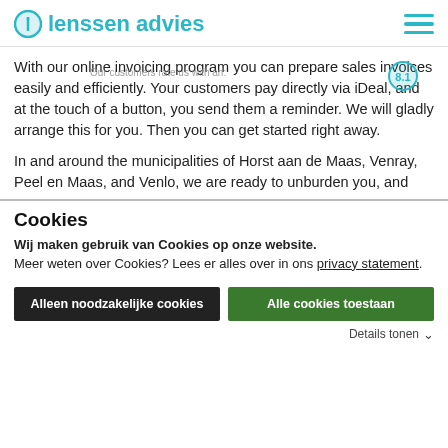lenssen advies
With our online invoicing program you can prepare sales invoices easily and efficiently. Your customers pay directly via iDeal, and at the touch of a button, you send them a reminder. We will gladly arrange this for you. Then you can get started right away.
In and around the municipalities of Horst aan de Maas, Venray, Peel en Maas, and Venlo, we are ready to unburden you, and
Cookies
Wij maken gebruik van Cookies op onze website. Meer weten over Cookies? Lees er alles over in ons privacy statement.
Alleen noodzakelijke cookies
Alle cookies toestaan
Details tonen